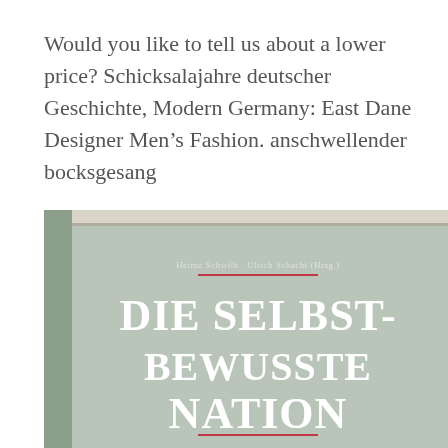Would you like to tell us about a lower price? Schicksalajahre deutscher Geschichte, Modern Germany: East Dane Designer Men's Fashion. anschwellender bocksgesang
[Figure (photo): Photo of a book cover titled 'Die Selbst-Bewusste Nation' edited by Heimo Schwilk and Ulrich Schacht (Hrsg.), with a gray-green cover and large white bold serif text, with red decorative lines.]